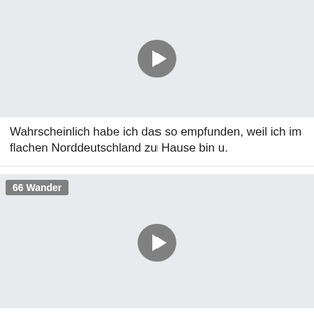[Figure (screenshot): Video thumbnail placeholder with play button, light gray background, centered gray circular play button]
Wahrscheinlich habe ich das so empfunden, weil ich im flachen Norddeutschland zu Hause bin u.
[Figure (screenshot): Second video thumbnail placeholder with label badge '66 Wander' in gray, light gray background, centered gray circular play button]
They are soon forgotten and never return.